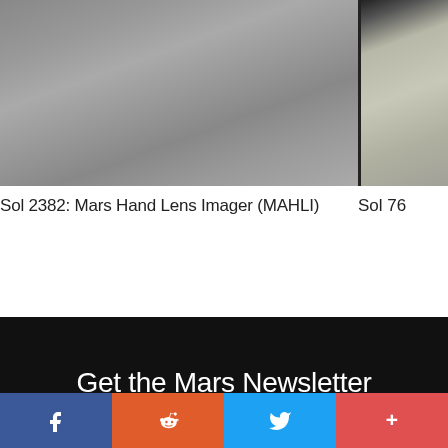[Figure (photo): Partial view of Mars surface photo taken by Mars Hand Lens Imager (MAHLI) on Sol 2382, showing grey rocky terrain]
Sol 2382: Mars Hand Lens Imager (MAHLI)
[Figure (photo): Partial view of second Mars photo, Sol 76, showing grey-green rocky surface with dark border on left]
Sol 76
Get the Mars Newsletter
[Figure (infographic): Social share bar with Facebook, Reddit, Twitter, and more (+) buttons]